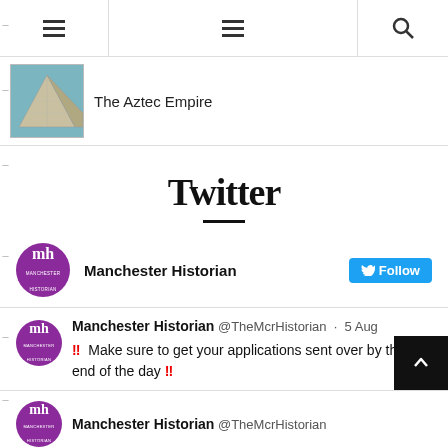Navigation bar with hamburger menus and search icon
The Aztec Empire
Twitter
Manchester Historian Follow
Manchester Historian @TheMcrHistorian · 5 Aug ‼ Make sure to get your applications sent over by the end of the day ‼
Manchester Historian @TheMcrHistorian